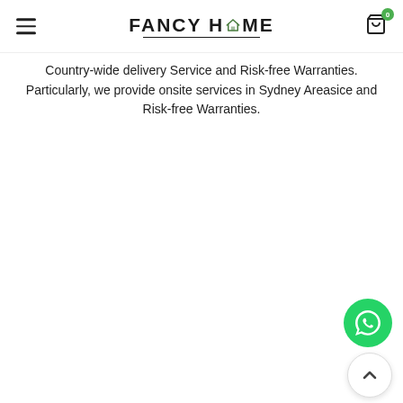FANCY HOME
Country-wide delivery Service and Risk-free Warranties. Particularly, we provide onsite services in Sydney Areasice and Risk-free Warranties.
[Figure (logo): WhatsApp contact button - green circle with phone handset icon]
[Figure (other): Back to top button - white circle with upward chevron arrow]